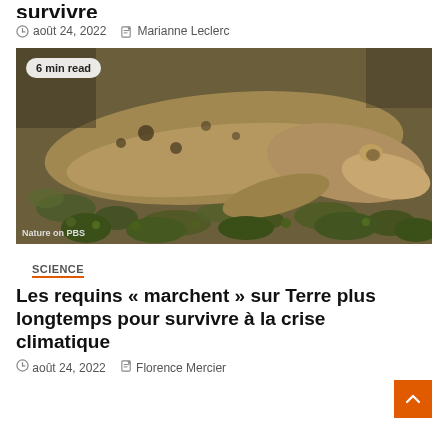août 24, 2022   Marianne Leclerc
[Figure (photo): Close-up macro photo of a spotted shark (epaulette shark) resting on rocky/coral substrate. A '6 min read' badge is overlaid in the top-left. Watermark 'Nature on PBS' at bottom-left.]
SCIENCE
Les requins « marchent » sur Terre plus longtemps pour survivre à la crise climatique
août 24, 2022   Florence Mercier